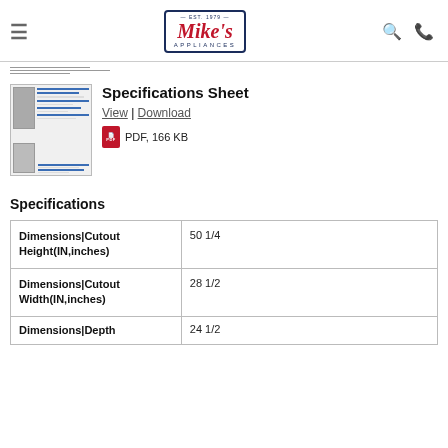Mike's Appliances
[Figure (screenshot): Thumbnail preview of a specifications sheet PDF document showing appliance images and blue-highlighted text sections]
Specifications Sheet
View | Download
PDF, 166 KB
Specifications
| Property | Value |
| --- | --- |
| Dimensions|Cutout Height(IN,inches) | 50 1/4 |
| Dimensions|Cutout Width(IN,inches) | 28 1/2 |
| Dimensions|Depth | 24 1/2 |